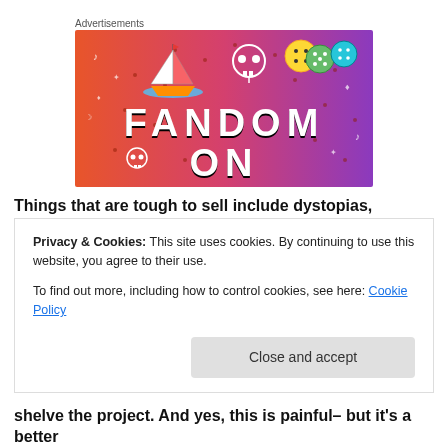Advertisements
[Figure (illustration): Tumblr advertisement banner with colorful gradient background (orange to purple) showing text 'FANDOM ON' with various fandom icons including a sailboat, skull, dice, music notes, and other doodles.]
Things that are tough to sell include dystopias, paranormal
Privacy & Cookies: This site uses cookies. By continuing to use this website, you agree to their use.
To find out more, including how to control cookies, see here: Cookie Policy
Close and accept
shelve the project.  And yes, this is painful– but it's a better